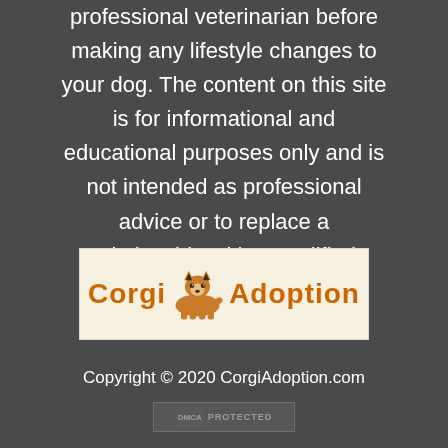professional veterinarian before making any lifestyle changes to your dog. The content on this site is for informational and educational purposes only and is not intended as professional advice or to replace a relationship with a qualified professional.
[Figure (logo): Corgi Adoption logo with orange corgi dog illustration between the words 'Corgi' and 'Adoption' on a light cream/white background]
Copyright © 2020 CorgiAdoption.com
[Figure (other): DMCA Protected badge]